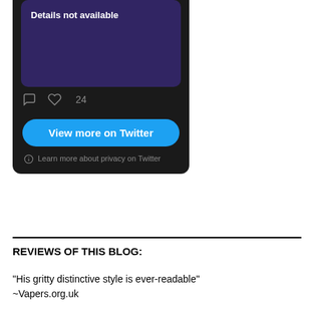[Figure (screenshot): Twitter embedded tweet widget showing a card with 'Details not available' text on a dark purple background, tweet action icons (comment, heart with count 24), a blue 'View more on Twitter' button, and a privacy note 'Learn more about privacy on Twitter']
REVIEWS OF THIS BLOG:
"His gritty distinctive style is ever-readable"
~Vapers.org.uk